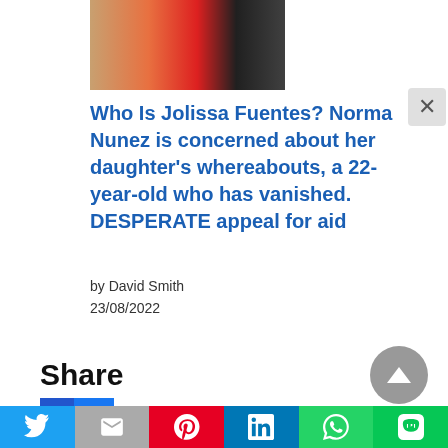[Figure (photo): Partial image strip showing colorful horizontal bands in orange, red, and dark tones at the top of the page]
Who Is Jolissa Fuentes? Norma Nunez is concerned about her daughter's whereabouts, a 22-year-old who has vanished. DESPERATE appeal for aid
by David Smith
23/08/2022
Share
Facebook